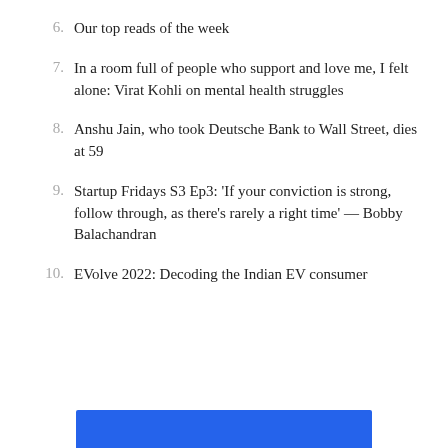6. Our top reads of the week
7. In a room full of people who support and love me, I felt alone: Virat Kohli on mental health struggles
8. Anshu Jain, who took Deutsche Bank to Wall Street, dies at 59
9. Startup Fridays S3 Ep3: 'If your conviction is strong, follow through, as there's rarely a right time' — Bobby Balachandran
10. EVolve 2022: Decoding the Indian EV consumer